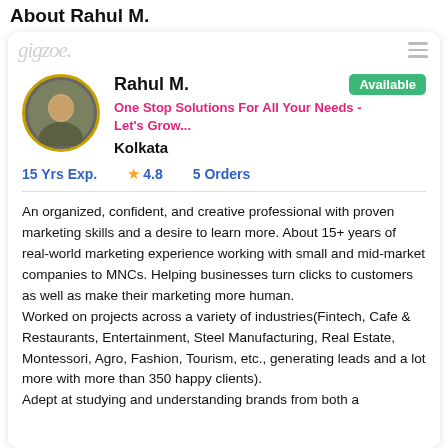About Rahul M.
[Figure (screenshot): Gigzoe freelancer profile card for Rahul M. showing avatar, name, availability badge, tagline, location, stats, and bio text.]
Rahul M.
Available
One Stop Solutions For All Your Needs - Let's Grow...
Kolkata
15 Yrs Exp.   ★ 4.8   5 Orders
An organized, confident, and creative professional with proven marketing skills and a desire to learn more. About 15+ years of real-world marketing experience working with small and mid-market companies to MNCs. Helping businesses turn clicks to customers as well as make their marketing more human.
Worked on projects across a variety of industries(Fintech, Cafe & Restaurants, Entertainment, Steel Manufacturing, Real Estate, Montessori, Agro, Fashion, Tourism, etc., generating leads and a lot more with more than 350 happy clients).
Adept at studying and understanding brands from both a